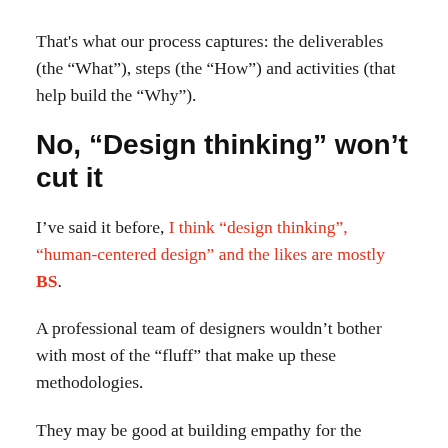That’s what our process captures: the deliverables (the “What”), steps (the “How”) and activities (that help build the “Why”).
No, “Design thinking” won’t cut it
I’ve said it before, I think “design thinking”, “human-centered design” and the likes are mostly BS.
A professional team of designers wouldn’t bother with most of the “fluff” that make up these methodologies.
They may be good at building empathy for the